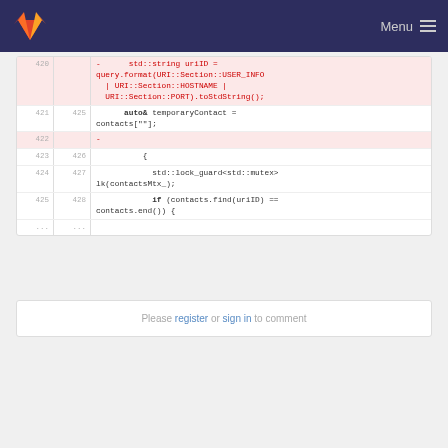GitLab — Menu
Code diff showing lines 420-425 (old) and 425-428 (new) with diff markers. Line 420 (removed): - std::string uriID = query.format(URI::Section::USER_INFO | URI::Section::HOSTNAME | URI::Section::PORT).toStdString(); Line 421/425: auto& temporaryContact = contacts[""]; Line 422 (removed): - Line 423/426: { Line 424/427: std::lock_guard<std::mutex> lk(contactsMtx_); Line 425/428: if (contacts.find(uriID) == contacts.end() {
Please register or sign in to comment